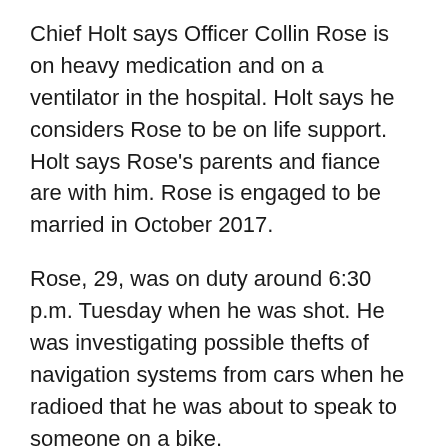Chief Holt says Officer Collin Rose is on heavy medication and on a ventilator in the hospital. Holt says he considers Rose to be on life support. Holt says Rose's parents and fiance are with him. Rose is engaged to be married in October 2017.
Rose, 29, was on duty around 6:30 p.m. Tuesday when he was shot. He was investigating possible thefts of navigation systems from cars when he radioed that he was about to speak to someone on a bike.
Rose was shot in the head during the stop at Brainard and Lincoln, an area off campus where Chief Holt says many students and some officers live.
Officers who arrived on the scene for backup found Rose injured on the ground. An officer immediately took Rose to the hospital by patrol car.